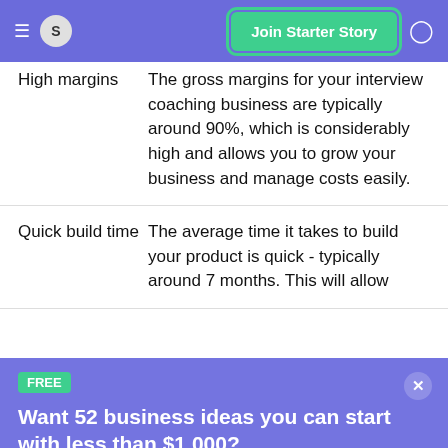S  Join Starter Story
| Feature | Description |
| --- | --- |
| High margins | The gross margins for your interview coaching business are typically around 90%, which is considerably high and allows you to grow your business and manage costs easily. |
| Quick build time | The average time it takes to build your product is quick - typically around 7 months. This will allow |
FREE
Want 52 business ideas you can start with less than $1,000?
Your email